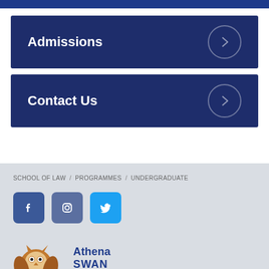Admissions
Contact Us
SCHOOL OF LAW / PROGRAMMES / UNDERGRADUATE
[Figure (infographic): Social media icons: Facebook (blue square), Instagram (blue-grey square), Twitter (light blue square)]
[Figure (logo): Athena SWAN logo with owl/bird illustration]